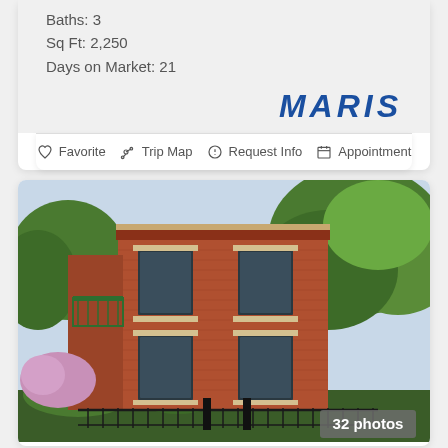Baths: 3
Sq Ft: 2,250
Days on Market: 21
[Figure (logo): MARIS real estate logo in bold blue italic text]
Favorite   Trip Map   Request Info   Appointment
[Figure (photo): Exterior photo of a two-story red brick building with green trees, wrought-iron fence in foreground, balcony on left side, multiple windows with stone lintels. Badge shows '32 photos'.]